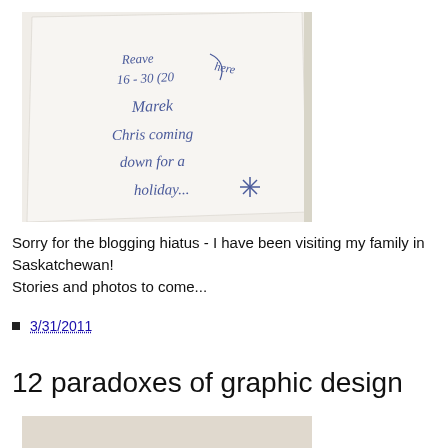[Figure (photo): A handwritten note on white paper/napkin in blue ink. Text reads: 'Reave 16-30 (20 here), Marek, Chris coming down for a holiday' with a decorative star/asterisk doodle.]
Sorry for the blogging hiatus - I have been visiting my family in Saskatchewan! Stories and photos to come...
■ 3/31/2011
12 paradoxes of graphic design
[Figure (photo): Partial photo visible at bottom of page, beige/tan background.]